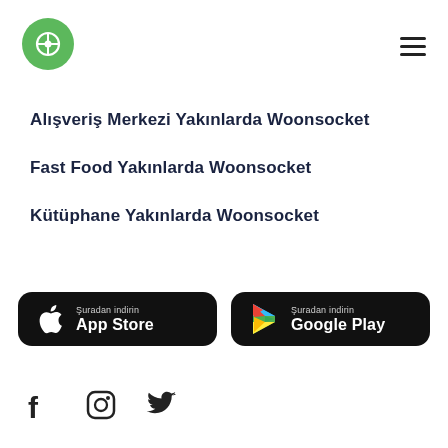[Figure (logo): Green circle logo with a map/location pin icon inside]
[Figure (other): Hamburger menu icon (three horizontal lines)]
Alışveriş Merkezi Yakınlarda Woonsocket
Fast Food Yakınlarda Woonsocket
Kütüphane Yakınlarda Woonsocket
[Figure (other): App Store download button (dark background, Apple logo, 'Şuradan indirin App Store')]
[Figure (other): Google Play download button (dark background, Play logo, 'Şuradan indirin Google Play')]
[Figure (other): Social media icons: Facebook, Instagram, Twitter]